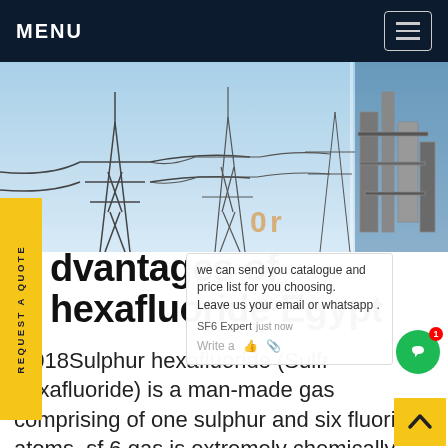MENU
[Figure (photo): Overhead electrical power transmission towers and infrastructure against a blue sky, with industrial equipment on the right side.]
Advantages of Sulphur hexafluoride Egypt
/2018Sulphur hexafluoride (Sulfr hexafluoride) is a man-made gas comprising of one sulphur and six fluoride atoms. sf 6 gas is extremely chemically stable, non-flammable and highly electronegative, with an excellent dielectric property of approximately 2.5 times more than air. Therefore is commonly used in electrical switchgear,